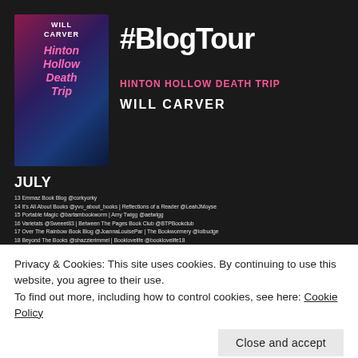[Figure (infographic): Blog tour promotional banner for 'Hinton Hollow Death Trip' by Will Carver. Shows book cover on dark background with #BlogTour hashtag, book title in pink, author name, and a July schedule of blog stops with dates and names.]
Privacy & Cookies: This site uses cookies. By continuing to use this website, you agree to their use.
To find out more, including how to control cookies, see here: Cookie Policy
Close and accept
Adventures in Crime Fiction Land @xfiJBPI
8 What Rebecca's Road @rebeccasroad | Raven Crime Reads @ravencrime
9 Book Reviews For U @annlitswimfer | Marcish Rankin @MarcishRankin